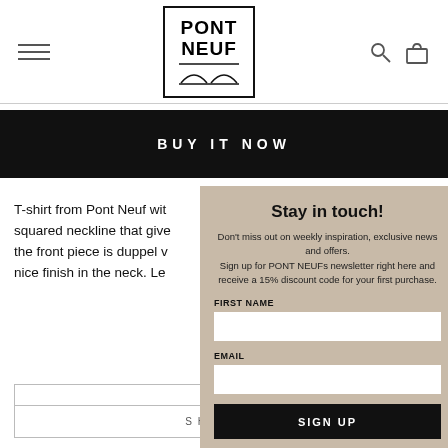[Figure (logo): Pont Neuf brand logo with text PONT NEUF and arch design inside a rectangle]
BUY IT NOW
T-shirt from Pont Neuf with squared neckline that gives the front piece is duppel w nice finish in the neck. Le
SHI
Stay in touch!
Don't miss out on weekly inspiration, exclusive news and offers.
Sign up for PONT NEUFs newsletter right here and receive a 15% discount code for your first purchase.
FIRST NAME
EMAIL
SIGN UP